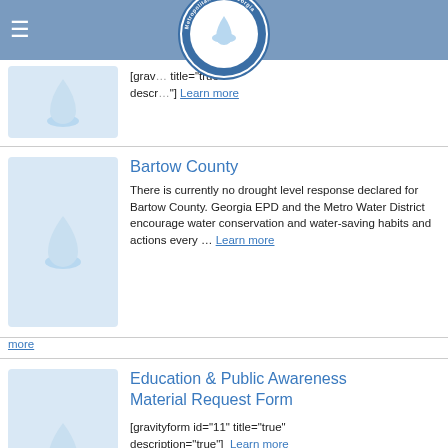Metropolitan North Georgia Water Planning District
[gravityform id="..." title="true" description="true"] Learn more
Bartow County
There is currently no drought level response declared for Bartow County. Georgia EPD and the Metro Water District encourage water conservation and water-saving habits and actions every ... Learn more
Education & Public Awareness Material Request Form
[gravityform id="11" title="true" description="true"]  Learn more